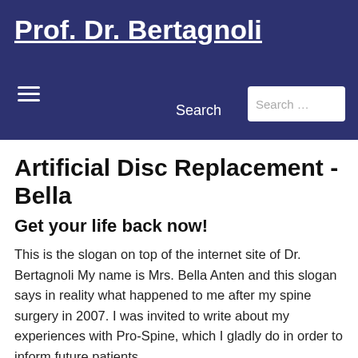Prof. Dr. Bertagnoli
Artificial Disc Replacement - Bella
Get your life back now!
This is the slogan on top of the internet site of Dr. Bertagnoli My name is Mrs. Bella Anten and this slogan says in reality what happened to me after my spine surgery in 2007. I was invited to write about my experiences with Pro-Spine, which I gladly do in order to inform future patients.